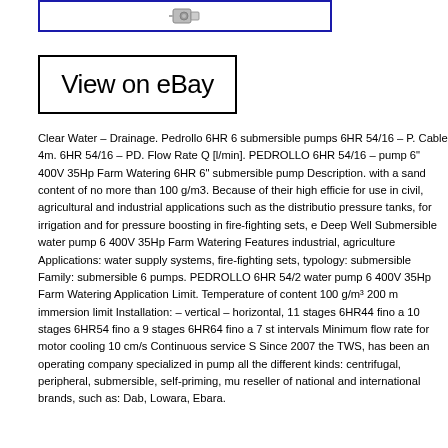[Figure (photo): Product image box with pump icon/thumbnail at top of page]
[Figure (screenshot): View on eBay button/link box]
Clear Water – Drainage. Pedrollo 6HR 6 submersible pumps 6HR 54/16 – P. Cable 4m. 6HR 54/16 – PD. Flow Rate Q [l/min]. PEDROLLO 6HR 54/16 – pump 6" 400V 35Hp Farm Watering 6HR 6" submersible pump Description. with a sand content of no more than 100 g/m3. Because of their high efficie for use in civil, agricultural and industrial applications such as the distributio pressure tanks, for irrigation and for pressure boosting in fire-fighting sets, e Deep Well Submersible water pump 6 400V 35Hp Farm Watering Features industrial, agriculture Applications: water supply systems, fire-fighting sets, typology: submersible Family: submersible 6 pumps. PEDROLLO 6HR 54/2 water pump 6 400V 35Hp Farm Watering Application Limit. Temperature of content 100 g/m³ 200 m immersion limit Installation: – vertical – horizontal, 11 stages 6HR44 fino a 10 stages 6HR54 fino a 9 stages 6HR64 fino a 7 s intervals Minimum flow rate for motor cooling 10 cm/s Continuous service S Since 2007 the TWS, has been an operating company specialized in pump all the different kinds: centrifugal, peripheral, submersible, self-priming, mu reseller of national and international brands, such as: Dab, Lowara, Ebara.